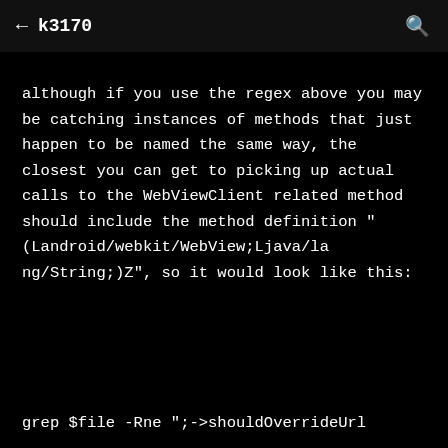← k3170
although if you use the regex above you may be catching instances of methods that just happen to be named the same way, the closest you can get to picking up actual calls to the WebViewClient related method should include the method definition "(Landroid/webkit/WebView;Ljava/lang/String;)Z", so it would look like this:
grep $file -Rne ";->shouldOverrideUrl